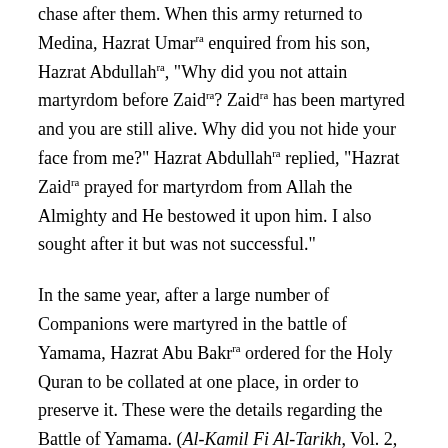chase after them. When this army returned to Medina, Hazrat Umar(ra) enquired from his son, Hazrat Abdullah(ra), "Why did you not attain martyrdom before Zaid(ra)? Zaid(ra) has been martyred and you are still alive. Why did you not hide your face from me?" Hazrat Abdullah(ra) replied, "Hazrat Zaid(ra) prayed for martyrdom from Allah the Almighty and He bestowed it upon him. I also sought after it but was not successful."
In the same year, after a large number of Companions were martyred in the battle of Yamama, Hazrat Abu Bakr(ra) ordered for the Holy Quran to be collated at one place, in order to preserve it. These were the details regarding the Battle of Yamama. (Al-Kamil Fi Al-Tarikh, Vol. 2, pp. 218-223, Dar-ul-Kutub Al-Ilmiyyah, Beirut, 2006), (Tarikh Al-Tabari, Vol. 2, pp. 300-310, Dar-ul-Fikr, Beirut, 2002), (Tarikh ibn Khuldoon, Vol. 3, pt. 1, p. 231, Dar-ul-Ishaat, Karachi, 2003)
Now I shall speak about a companion named Hazrat Abdullah(ra) bin